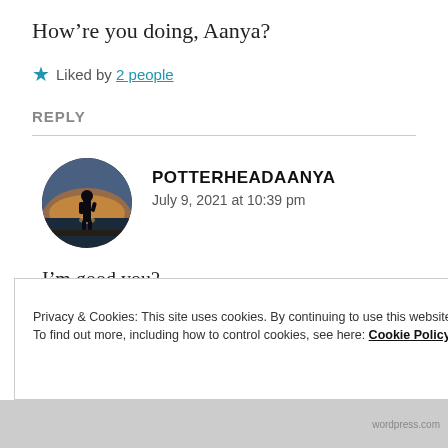How're you doing, Aanya?
★ Liked by 2 people
REPLY
[Figure (photo): Circular avatar photo of a person silhouetted against a sunset sky near water, with a reddish-orange glow.]
POTTERHEADAANYA
July 9, 2021 at 10:39 pm
I'm good you?
Privacy & Cookies: This site uses cookies. By continuing to use this website, you agree to their use.
To find out more, including how to control cookies, see here: Cookie Policy
Close and accept